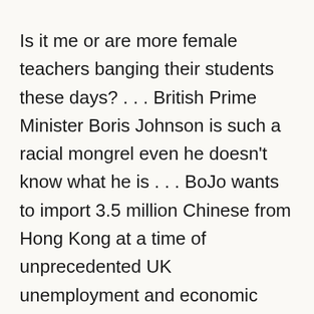Is it me or are more female teachers banging their students these days? . . . British Prime Minister Boris Johnson is such a racial mongrel even he doesn't know what he is . . . BoJo wants to import 3.5 million Chinese from Hong Kong at a time of unprecedented UK unemployment and economic crisis . . . Maybe our boy is Chinese, too? . . . How do the Chinese pay him off? . . .